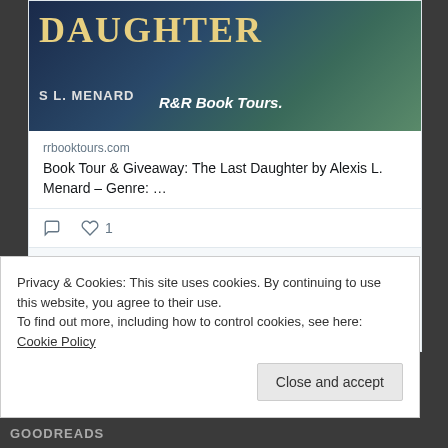[Figure (screenshot): Book cover partial image showing title 'Daughter' by S L. Menard with R&R Book Tours branding on dark fantasy background]
rrbooktours.com
Book Tour & Giveaway: The Last Daughter by Alexis L. Menard – Genre: …
View more on Twitter
Learn more about privacy on Twitter
Privacy & Cookies: This site uses cookies. By continuing to use this website, you agree to their use.
To find out more, including how to control cookies, see here: Cookie Policy
Close and accept
GOODREADS